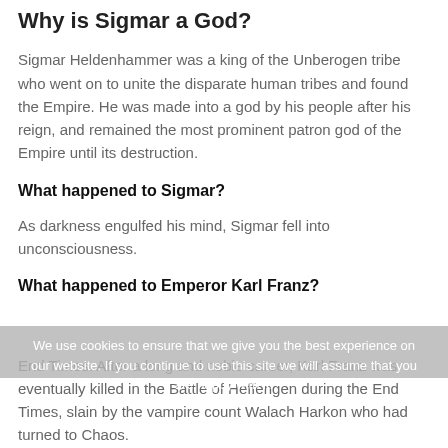Why is Sigmar a God?
Sigmar Heldenhammer was a king of the Unberogen tribe who went on to unite the disparate human tribes and found the Empire. He was made into a god by his people after his reign, and remained the most prominent patron god of the Empire until its destruction.
What happened to Sigmar?
As darkness engulfed his mind, Sigmar fell into unconsciousness.
What happened to Emperor Karl Franz?
End Times. After a long and noble career, Karl Franz was eventually killed in the Battle of Heffengen during the End Times, slain by the vampire count Walach Harkon who had turned to Chaos.
We use cookies to ensure that we give you the best experience on our website. If you continue to use this site we will assume that you are happy with it.